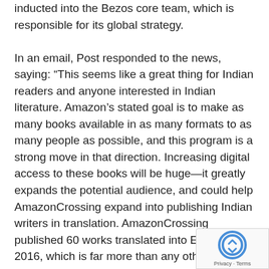inducted into the Bezos core team, which is responsible for its global strategy.

In an email, Post responded to the news, saying: “This seems like a great thing for Indian readers and anyone interested in Indian literature. Amazon’s stated goal is to make as many books available in as many formats to as many people as possible, and this program is a strong move in that direction. Increasing digital access to these books will be huge—it greatly expands the potential audience, and could help AmazonCrossing expand into publishing Indian writers in translation. AmazonCrossing published 60 works translated into English in 2016, which is far more than any other publisher. The majority of these titles are